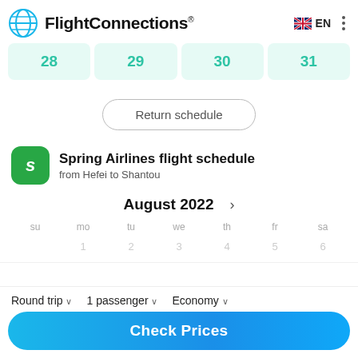FlightConnections® EN
[Figure (screenshot): Date strip showing calendar cells with numbers 28, 29, 30, 31 on teal/mint background]
Return schedule
Spring Airlines flight schedule from Hefei to Shantou
August 2022
su mo tu we th fr sa
1 2 3 4 5 6
Round trip  1 passenger  Economy
Check Prices